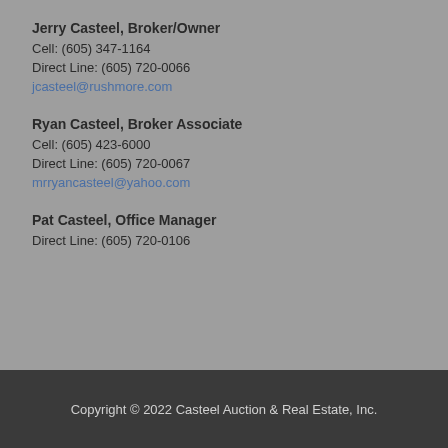Jerry Casteel, Broker/Owner
Cell: (605) 347-1164
Direct Line: (605) 720-0066
jcasteel@rushmore.com
Ryan Casteel, Broker Associate
Cell: (605) 423-6000
Direct Line: (605) 720-0067
mrryancasteel@yahoo.com
Pat Casteel, Office Manager
Direct Line: (605) 720-0106
Copyright © 2022 Casteel Auction & Real Estate, Inc.